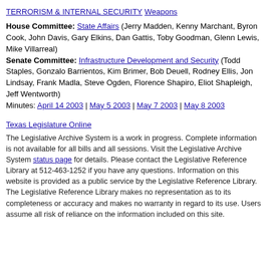TERRORISM & INTERNAL SECURITY
Weapons
House Committee: State Affairs (Jerry Madden, Kenny Marchant, Byron Cook, John Davis, Gary Elkins, Dan Gattis, Toby Goodman, Glenn Lewis, Mike Villarreal) Senate Committee: Infrastructure Development and Security (Todd Staples, Gonzalo Barrientos, Kim Brimer, Bob Deuell, Rodney Ellis, Jon Lindsay, Frank Madla, Steve Ogden, Florence Shapiro, Eliot Shapleigh, Jeff Wentworth) Minutes: April 14 2003 | May 5 2003 | May 7 2003 | May 8 2003
Texas Legislature Online
The Legislative Archive System is a work in progress. Complete information is not available for all bills and all sessions. Visit the Legislative Archive System status page for details. Please contact the Legislative Reference Library at 512-463-1252 if you have any questions. Information on this website is provided as a public service by the Legislative Reference Library. The Legislative Reference Library makes no representation as to its completeness or accuracy and makes no warranty in regard to its use. Users assume all risk of reliance on the information included on this site.